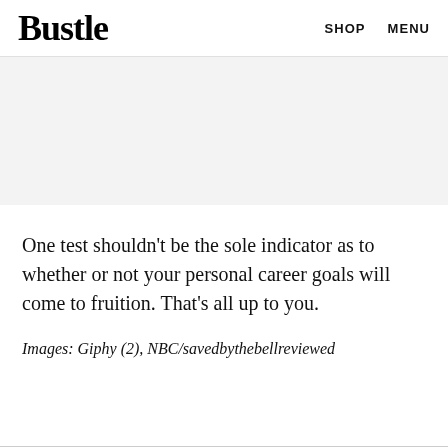Bustle   SHOP   MENU
[Figure (other): Gray placeholder/advertisement block]
One test shouldn't be the sole indicator as to whether or not your personal career goals will come to fruition. That's all up to you.
Images: Giphy (2), NBC/savedbythebellreviewed